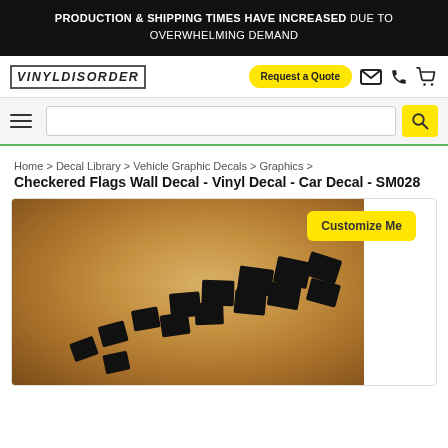PRODUCTION & SHIPPING TIMES HAVE INCREASED DUE TO OVERWHELMING DEMAND
[Figure (logo): Vinyl Disorder logo and navigation bar with Request a Quote button, mail, phone, and cart icons]
[Figure (screenshot): Search bar with hamburger menu and yellow search button]
Home > Decal Library > Vehicle Graphic Decals > Graphics > Checkered Flags Wall Decal - Vinyl Decal - Car Decal - SM028
Checkered Flags Wall Decal - Vinyl Decal - Car Decal - SM028
[Figure (photo): Product image showing checkered flags vinyl decal on a gradient tan/brown background with a Customize Me badge in yellow]